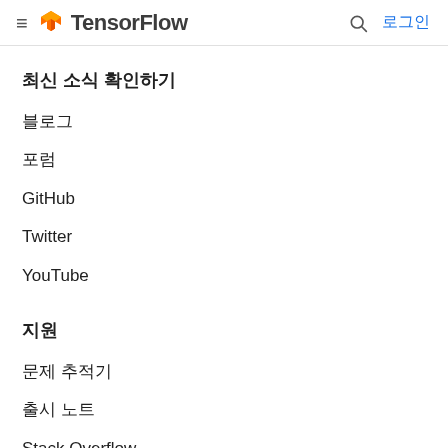TensorFlow 로그인
최신 소식 확인하기
블로그
포럼
GitHub
Twitter
YouTube
지원
문제 추적기
출시 노트
Stack Overflow
브랜드 가이드라인